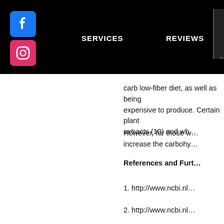[Figure (other): Website navigation header bar with Facebook and Instagram social media icons, and navigation links: SERVICES, REVIEWS, ABOUT]
carb low-fiber diet, as well as being expensive to produce. Certain plant extracts (10) and wh…
However, for those w… increase the carbohy…
References and Furt…
1. http://www.ncbi.nl…
2. http://www.ncbi.nl…
3. http://www.ncbi.nl…